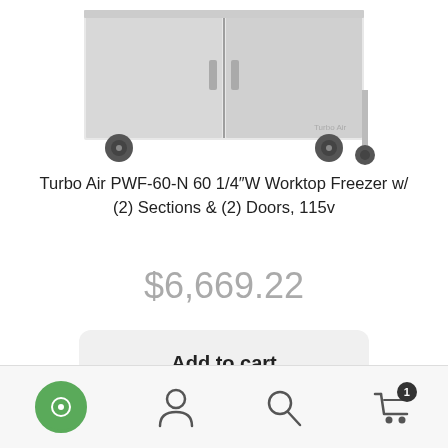[Figure (photo): Partial view of a stainless steel commercial worktop freezer with two sections and two doors, on casters, shown from above cropped to show bottom portion of unit]
Turbo Air PWF-60-N 60 1/4"W Worktop Freezer w/ (2) Sections & (2) Doors, 115v
$6,669.22
Add to cart
Navigation bar with chat, account, search, and cart (1 item) icons